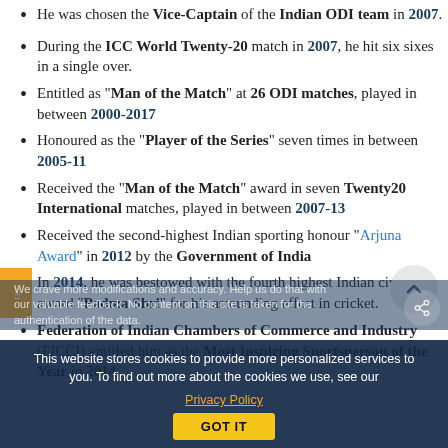He was chosen the Vice-Captain of the Indian ODI team in 2007.
During the ICC World Twenty-20 match in 2007, he hit six sixes in a single over.
Entitled as "Man of the Match" at 26 ODI matches, played in between 2000-2017
Honoured as the "Player of the Series" seven times in between 2005-11
Received the "Man of the Match" award in seven Twenty20 International matches, played in between 2007-13
Received the second-highest Indian sporting honour "Arjuna Award" in 2012 by the Government of India
In 2014, he was bestowed with the fourth highest Indian civilian award "Padma Shri" for his astounding effort in cricket.
Federation of Indian Chambers of Commerce and Industry (FICCI) entitled him as the Most Inspiring Sportsperson of the Year in 2014.
This website stores cookies to provide more personalized services to you. To find out more about the cookies we use, see our Privacy Policy